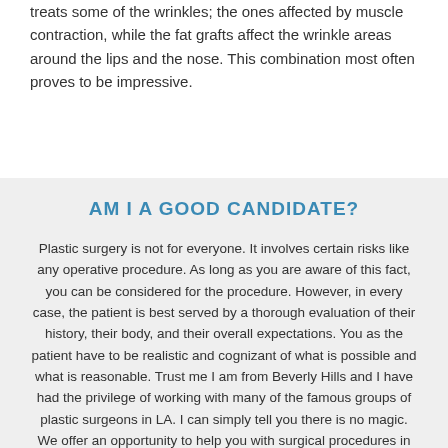treats some of the wrinkles; the ones affected by muscle contraction, while the fat grafts affect the wrinkle areas around the lips and the nose. This combination most often proves to be impressive.
AM I A GOOD CANDIDATE?
Plastic surgery is not for everyone. It involves certain risks like any operative procedure. As long as you are aware of this fact, you can be considered for the procedure. However, in every case, the patient is best served by a thorough evaluation of their history, their body, and their overall expectations. You as the patient have to be realistic and cognizant of what is possible and what is reasonable. Trust me I am from Beverly Hills and I have had the privilege of working with many of the famous groups of plastic surgeons in LA. I can simply tell you there is no magic. We offer an opportunity to help you with surgical procedures in correcting what you may think is abnormal about your body. Also please understand that for